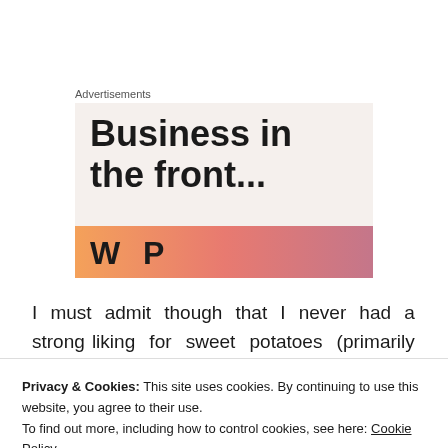Advertisements
[Figure (illustration): Advertisement banner with text 'Business in the front...' in bold black on a light beige background, with a colorful gradient bar (orange to pink) at the bottom and partially visible bold text below.]
I must admit though that I never had a strong liking for sweet potatoes (primarily because of its
Privacy & Cookies: This site uses cookies. By continuing to use this website, you agree to their use.
To find out more, including how to control cookies, see here: Cookie Policy
[Close and accept]
practice, I take it as an opportunity to nurture my